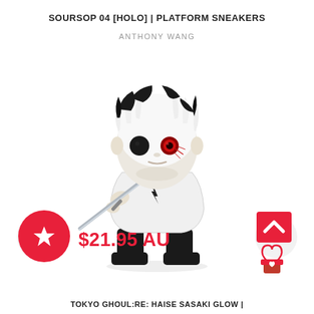SOURSOP 04 [HOLO] | PLATFORM SNEAKERS
ANTHONY WANG
[Figure (photo): Funko Pop vinyl figure of Haise Sasaki from Tokyo Ghoul:re, with white hair, black tips, one black eye and one red eye, wearing a white coat, holding a sword, with black boots]
$21.95 AU
TOKYO GHOUL:RE: HAISE SASAKI GLOW |